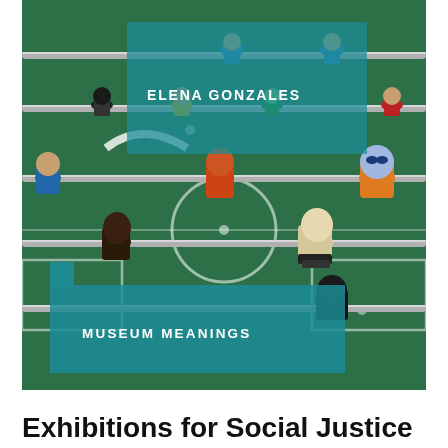[Figure (photo): Book cover showing a foosball table with colorful player figurines on metal rods over a green playing surface with white line markings. A teal semi-transparent overlay band near the top displays the author name 'ELENA GONZALES', and a second teal band near the bottom displays 'MUSEUM MEANINGS' series label. A small teal square accent appears to the left of the bottom band.]
Exhibitions for Social Justice